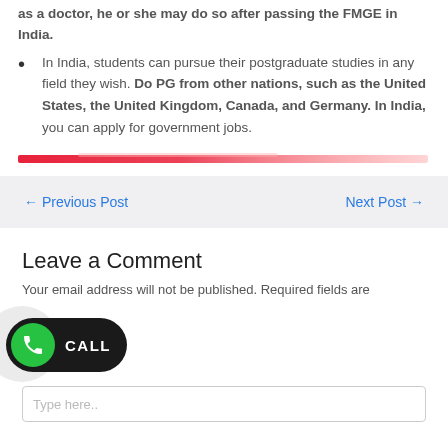as a doctor, he or she may do so after passing the FMGE in India.
In India, students can pursue their postgraduate studies in any field they wish. Do PG from other nations, such as the United States, the United Kingdom, Canada, and Germany. In India, you can apply for government jobs.
[Figure (illustration): Red gradient decorative divider bar]
← Previous Post
Next Post →
Leave a Comment
Your email address will not be published. Required fields are
[Figure (other): Green phone call button with CALL label on dark background]
Type here..